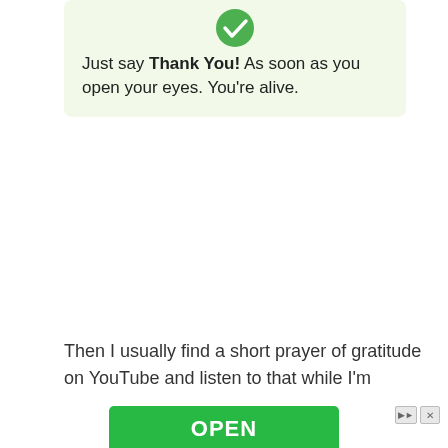[Figure (infographic): Light green rounded card with a green checkmark circle icon at top center, containing text: Just say Thank You! As soon as you open your eyes. You're alive.]
Just say Thank You! As soon as you open your eyes. You're alive.
Then I usually find a short prayer of gratitude on YouTube and listen to that while I'm getting out of bed. You can find lots of these prayers that are under 5 minutes. I really enjoy listening to them.
Then off to make coffee and then grab you
[Figure (screenshot): Advertisement overlay with green OPEN button, icons, text 'Unlock Essential Insights', and Ad label]